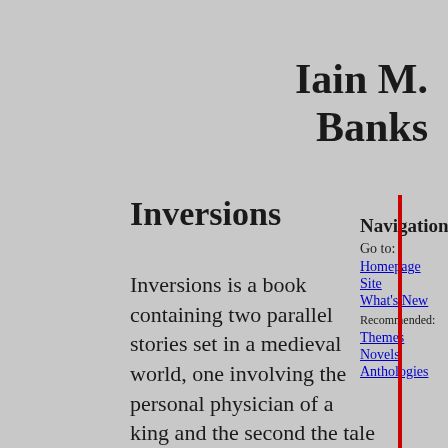Iain M. Banks
Inversions
Navigation
Go to:
Homepage
Site
What's New
Recommended:
Themes
Novels
Anthologies
Inversions is a book containing two parallel stories set in a medieval world, one involving the personal physician of a king and the second the tale of a bodyguard of a Protector who has usurped a king. I started this novel with some